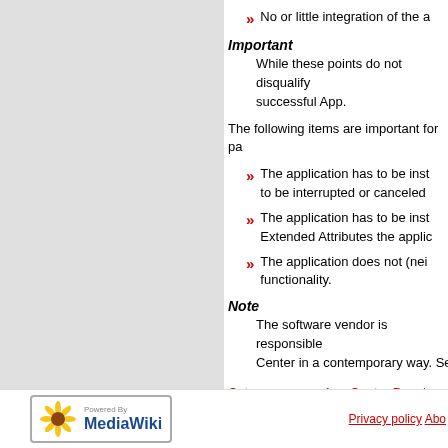» No or little integration of the a
Important
While these points do not disqualify successful App.
The following items are important for pa
» The application has to be inst to be interrupted or canceled
» The application has to be inst Extended Attributes the applic
» The application does not (nei functionality.
Note
The software vendor is responsible Center in a contemporary way. Se
Category: » App Center Developer
Powered By MediaWiki | Privacy policy Abo